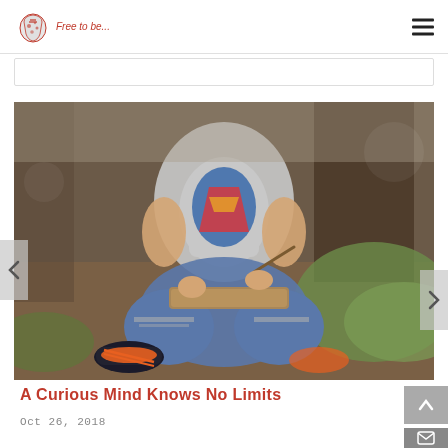Mucky Boots – Free to be...
[Figure (photo): Child sitting cross-legged outdoors against a tree, wearing a Superman t-shirt and ripped jeans with orange sneakers, holding a stick and a wooden board/tray in their lap. Outdoor natural setting with grass and dirt.]
A Curious Mind Knows No Limits
Oct 26, 2018